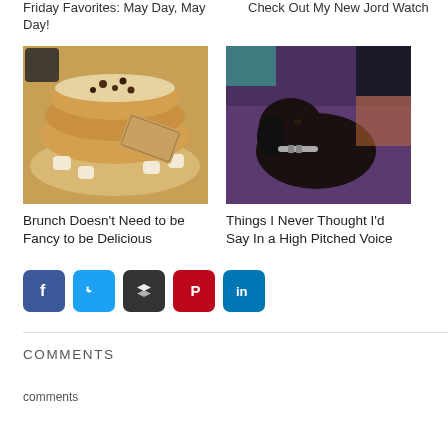Friday Favorites: May Day, May Day!
Check Out My New Jord Watch
[Figure (photo): Pancakes with marshmallows, chocolate chips, and graham crackers on a white plate with a coffee mug in background]
[Figure (photo): Black dog sleeping on a purple blanket wearing a collar]
Brunch Doesn't Need to be Fancy to be Delicious
Things I Never Thought I'd Say In a High Pitched Voice
[Figure (infographic): Social sharing buttons: Facebook, Twitter, Buffer, Pinterest, LinkedIn]
COMMENTS
comments